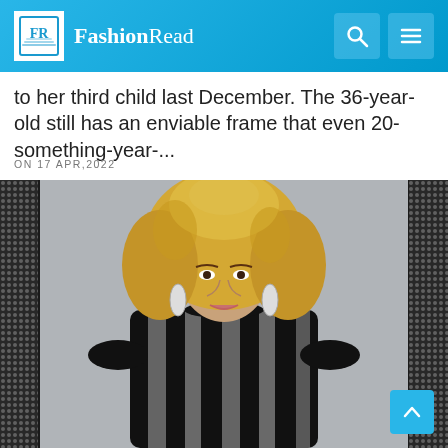FR FashionRead
to her third child last December. The 36-year-old still has an enviable frame that even 20-something-year-...
ON 17 APR,2022
[Figure (photo): Woman with voluminous blonde curly hair wearing a black and silver sequined striped long-sleeve mini dress, photographed against a grey background with sequined panels on the sides.]